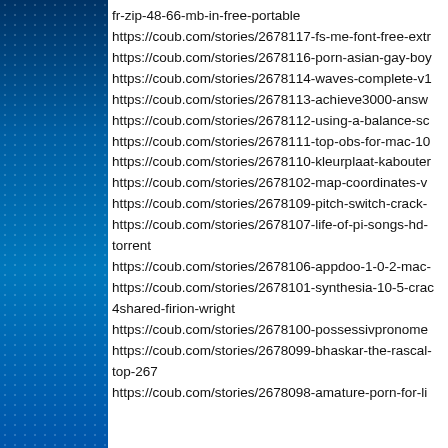fr-zip-48-66-mb-in-free-portable
https://coub.com/stories/2678117-fs-me-font-free-extr
https://coub.com/stories/2678116-porn-asian-gay-boy
https://coub.com/stories/2678114-waves-complete-v1
https://coub.com/stories/2678113-achieve3000-answ
https://coub.com/stories/2678112-using-a-balance-sc
https://coub.com/stories/2678111-top-obs-for-mac-10
https://coub.com/stories/2678110-kleurplaat-kabouter
https://coub.com/stories/2678102-map-coordinates-v
https://coub.com/stories/2678109-pitch-switch-crack-
https://coub.com/stories/2678107-life-of-pi-songs-hd-
torrent
https://coub.com/stories/2678106-appdoo-1-0-2-mac-
https://coub.com/stories/2678101-synthesia-10-5-crac
4shared-firion-wright
https://coub.com/stories/2678100-possessivpronome
https://coub.com/stories/2678099-bhaskar-the-rascal-
top-267
https://coub.com/stories/2678098-amature-porn-for-li